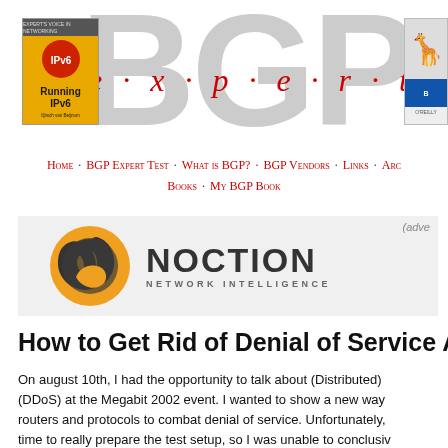[Figure (logo): BGP Expert website header with large grey BGP text, red italic e.x.p.e.r.t overlay, book cover on left (Running IPv6, orange cover), and partial book cover on right]
Home · BGP Expert Test · What is BGP? · BGP Vendors · Links · Ar... Books · My BGP Book
[Figure (logo): Noction Network Intelligence advertisement banner with orange/dark swirl logo and bold NOCTION NETWORK INTELLIGENCE text]
How to Get Rid of Denial of Service Attac...
On august 10th, I had the opportunity to talk about (Distributed) (DDoS) at the Megabit 2002 event. I wanted to show a new way routers and protocols to combat denial of service. Unfortunately time to really prepare the test setup, so I was unable to conclusiv However, I was still able to explain how it is supposed to work. also after the event: the tion is that I iw...